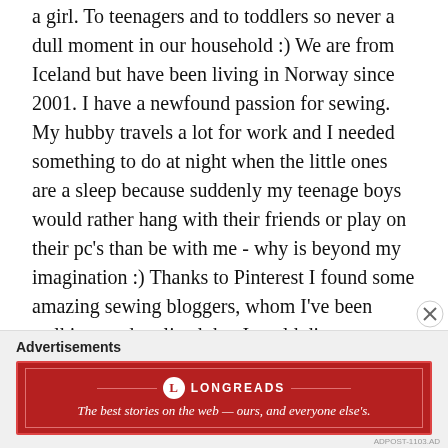a girl. To teenagers and to toddlers so never a dull moment in our household :) We are from Iceland but have been living in Norway since 2001. I have a newfound passion for sewing. My hubby travels a lot for work and I needed something to do at night when the little ones are a sleep because suddenly my teenage boys would rather hang with their friends or play on their pc's than be with me - why is beyond my imagination :) Thanks to Pinterest I found some amazing sewing bloggers, whom I've been stalking, and realized that I could dig out my sewing machine and start sewing. Now it's all I think about. I've been hoarding pdf patterns and learning from all the amazing tutorials that are out there. I've decided to try out this blogging thing as well to document my sewing journey.
Advertisements
[Figure (other): Longreads advertisement banner with red background. Logo circle with L, LONGREADS text, tagline: The best stories on the web — ours, and everyone else's.]